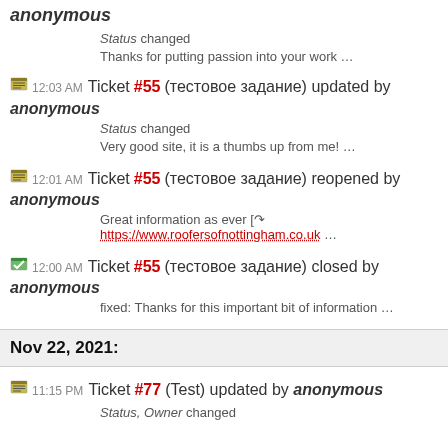anonymous — Status changed — Thanks for putting passion into your work …
12:03 AM Ticket #55 (тестовое задание) updated by anonymous — Status changed — Very good site, it is a thumbs up from me! …
12:01 AM Ticket #55 (тестовое задание) reopened by anonymous — Great information as ever [ https://www.roofersofnottingham.co.uk …
12:00 AM Ticket #55 (тестовое задание) closed by anonymous — fixed: Thanks for this important bit of information …
Nov 22, 2021:
11:15 PM Ticket #77 (Test) updated by anonymous — Status, Owner changed